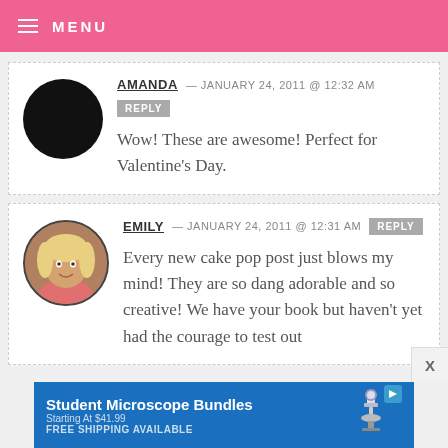MENU
AMANDA — JANUARY 24, 2011 @ 12:32 AM REPLY
Wow! These are awesome! Perfect for Valentine's Day.
EMILY — JANUARY 24, 2011 @ 12:31 AM REPLY
Every new cake pop post just blows my mind! They are so dang adorable and so creative! We have your book but haven't yet had the courage to test out
[Figure (infographic): Student Microscope Bundles advertisement banner. Blue background with microscope image. Text: Student Microscope Bundles, Starting At $41.99, FREE SHIPPING AVAILABLE]